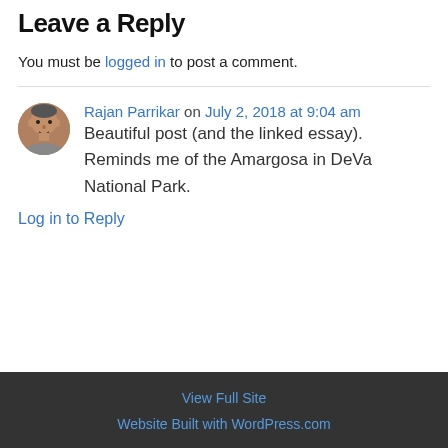Leave a Reply
You must be logged in to post a comment.
Rajan Parrikar on July 2, 2018 at 9:04 am
Beautiful post (and the linked essay). Reminds me of the Amargosa in DeVa National Park.
Log in to Reply
View Full Site
Website Built with WordPress.com